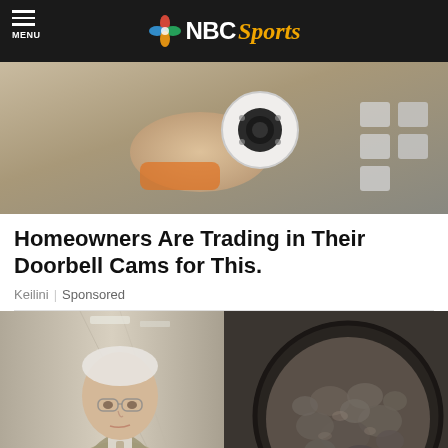NBC Sports
[Figure (photo): Photo of a hand holding a small white security camera, with an orange power drill in background]
Homeowners Are Trading in Their Doorbell Cams for This.
Keilini | Sponsored
[Figure (photo): Photo of an elderly man in a suit pointing at a cast iron skillet full of cooked ground meat]